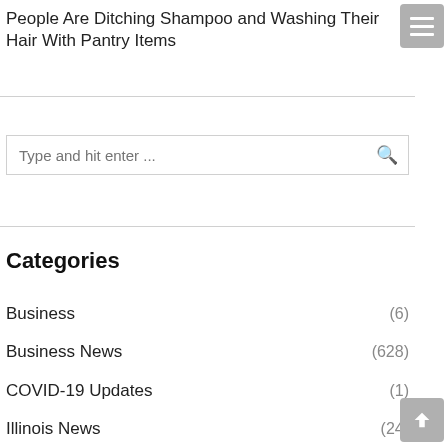People Are Ditching Shampoo and Washing Their Hair With Pantry Items
Type and hit enter ...
Categories
Business (6)
Business News (628)
COVID-19 Updates (1)
Illinois News (24)
Lifestyle & Hobby (1)